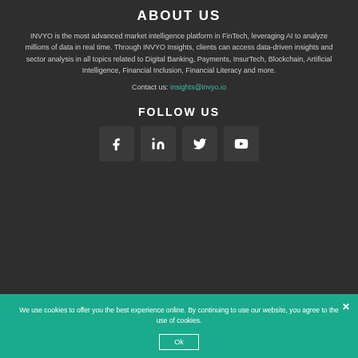ABOUT US
INVYO is the most advanced market intelligence platform in FinTech, leveraging AI to analyze millions of data in real time. Through INVYO Insights, clients can access data-driven insights and sector analysis in all topics related to Digital Banking, Payments, InsurTech, Blockchain, Artificial Intelligence, Financial Inclusion, Financial Literacy and more.
Contact us: insights@invyo.io
FOLLOW US
[Figure (infographic): Four social media icon boxes: Facebook (f), LinkedIn (in), Twitter bird icon, YouTube play button icon]
We use cookies to offer you the best experience online. By continuing to use our website, you agree to the use of cookies.
Ok